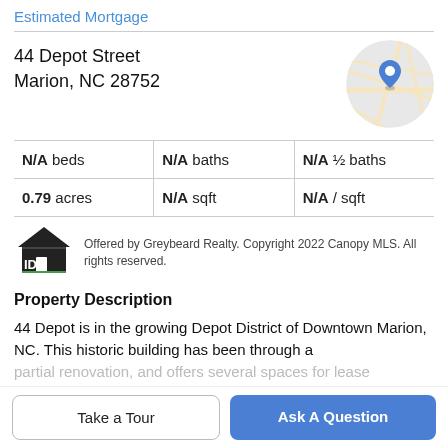Estimated Mortgage
44 Depot Street
Marion, NC 28752
[Figure (map): Circular map thumbnail showing a street map with a blue location pin marker indicating 44 Depot Street, Marion, NC 28752]
| N/A beds | N/A baths | N/A ½ baths |
| 0.79 acres | N/A sqft | N/A / sqft |
[Figure (logo): IDX logo — a house icon with IDX text]
Offered by Greybeard Realty. Copyright 2022 Canopy MLS. All rights reserved.
Property Description
44 Depot is in the growing Depot District of Downtown Marion, NC. This historic building has been through a
partial renovation, and offers several spaces for lease
Take a Tour
Ask A Question